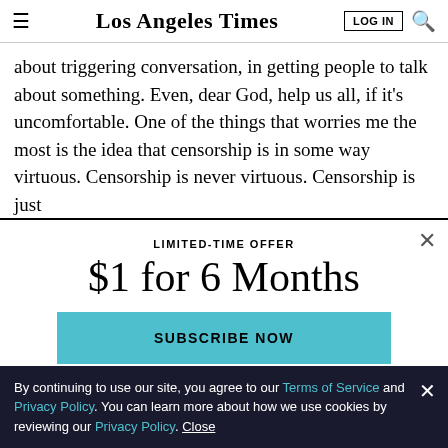Los Angeles Times | LOG IN | search
about triggering conversation, in getting people to talk about something. Even, dear God, help us all, if it's uncomfortable. One of the things that worries me the most is the idea that censorship is in some way virtuous. Censorship is never virtuous. Censorship is just
LIMITED-TIME OFFER
$1 for 6 Months
SUBSCRIBE NOW
By continuing to use our site, you agree to our Terms of Service and Privacy Policy. You can learn more about how we use cookies by reviewing our Privacy Policy. Close